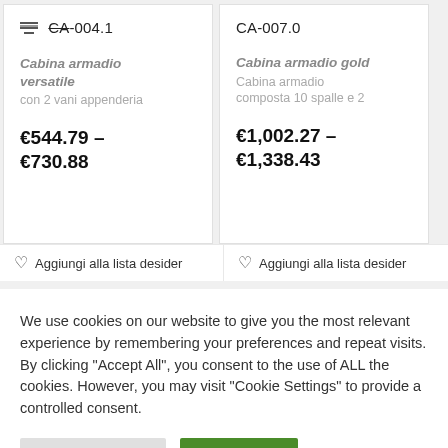CA-004.1
Cabina armadio versatile
con 2 vani appenderia
€544.79 – €730.88
CA-007.0
Cabina armadio gold
Cabina armadio composta 10 spalle e 2
€1,002.27 – €1,338.43
♡  Aggiungi alla lista desider
♡  Aggiungi alla lista desider
We use cookies on our website to give you the most relevant experience by remembering your preferences and repeat visits. By clicking "Accept All", you consent to the use of ALL the cookies. However, you may visit "Cookie Settings" to provide a controlled consent.